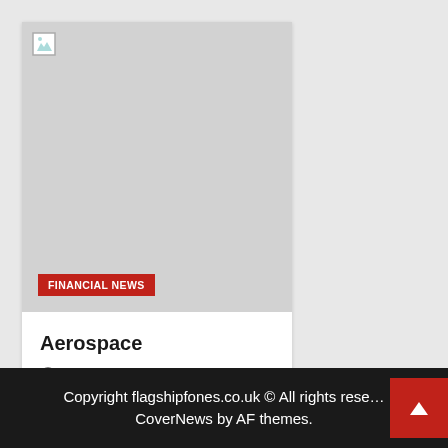[Figure (photo): Broken image placeholder on grey background with FINANCIAL NEWS category badge in red]
Aerospace
2 weeks ago
MichaelBloomberg
MichaelBloomberg
Copyright flagshipfones.co.uk © All rights reserved. CoverNews by AF themes.